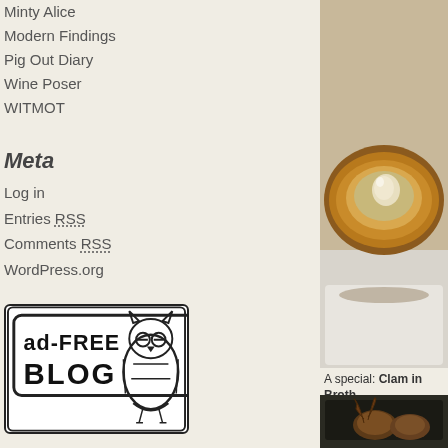Minty Alice
Modern Findings
Pig Out Diary
Wine Poser
WITMOT
Meta
Log in
Entries RSS
Comments RSS
WordPress.org
[Figure (logo): Ad-free blog badge with owl illustration]
[Figure (photo): Close-up photo of a clam in broth in a pastry shell on a white plate]
A special: Clam in Broth
[Figure (photo): Photo of food item, dark background with cooked meat/seafood]